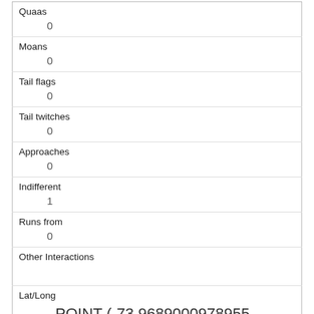| Quaas | 0 |
| Moans | 0 |
| Tail flags | 0 |
| Tail twitches | 0 |
| Approaches | 0 |
| Indifferent | 1 |
| Runs from | 0 |
| Other Interactions |  |
| Lat/Long | POINT (-73.9689000978955 40.7828364735236) |
| Link | 79 |